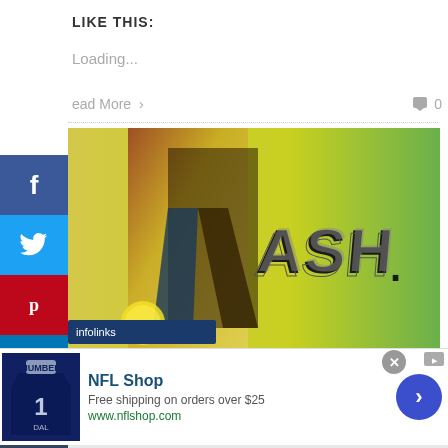LIKE THIS:
Loading...
ead More > 0
[Figure (photo): ASH promotional image showing a costumed figure with legs spread in a dynamic pose, yellow-green background, with 'ASH' stylized logo text on the right side]
NFL Shop
Free shipping on orders over $25
www.nflshop.com
[Figure (photo): NFL Dallas Cowboys jersey shirt product image]